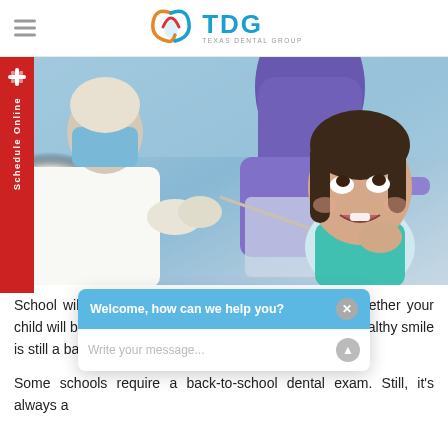Texas Dental Group (TDG) — navigation header with hamburger menu and logo
[Figure (photo): Dentist in mask and gloves examining a young girl sitting in a purple dental chair. The child has dark hair in braids and is smiling/looking up. The dentist holds a dental tool near her mouth. Clinical dental office setting with blue/purple chair and medical equipment visible.]
School will be back in session before you know it. Whether your child will be in the classroom or learning from home, a healthy smile is still a back-to-school essential.
Some schools require a back-to-school dental exam. Still, it's always a